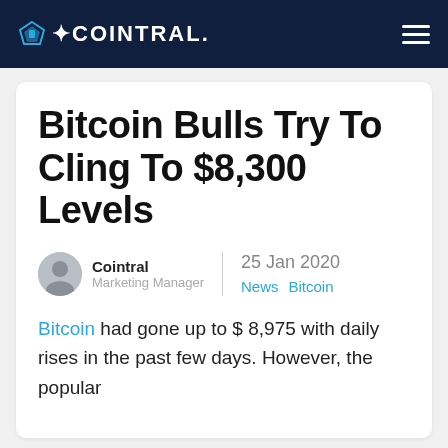COINTRAL
Bitcoin Bulls Try To Cling To $8,300 Levels
Cointral
Marketing Manager
25 Jan 2020
News  Bitcoin
Bitcoin had gone up to $ 8,975 with daily rises in the past few days. However, the popular